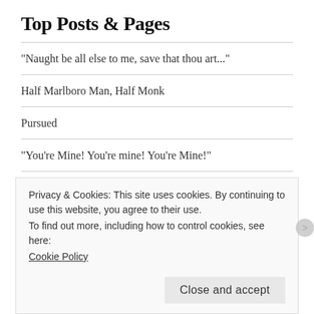Top Posts & Pages
"Naught be all else to me, save that thou art..."
Half Marlboro Man, Half Monk
Pursued
"You're Mine! You're mine! You're Mine!"
Subscribe to Blog via Email
Privacy & Cookies: This site uses cookies. By continuing to use this website, you agree to their use.
To find out more, including how to control cookies, see here:
Cookie Policy
Close and accept